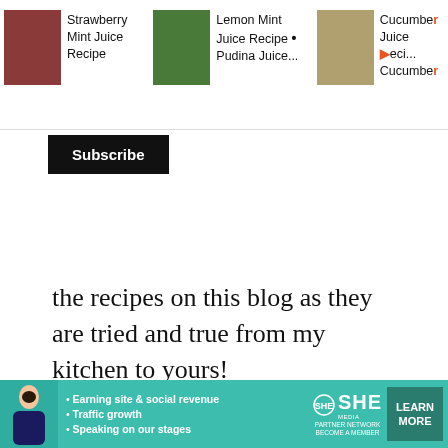[Figure (screenshot): Top navigation bar with three recipe article thumbnails: Strawberry Mint Juice Recipe, Lemon Mint Juice Recipe • Pudina Juice..., Cucumber Juice Recipe • Cucumber]
Subscribe
the recipes on this blog as they are tried and true from my kitchen to yours!
COMMENTS
Sona S
[Figure (infographic): Bottom ad banner: SHE Partner Network - Earning site & social revenue, Traffic growth, Speaking on our stages - LEARN MORE - BECOME A MEMBER]